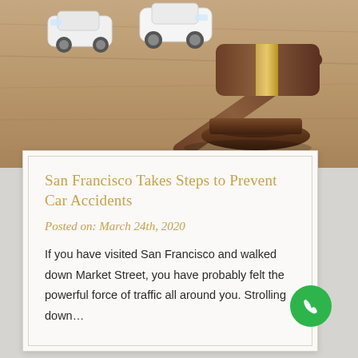[Figure (photo): Photo of a wooden judge's gavel on a wooden surface with small white toy car models in the background, suggesting a car accident legal context.]
San Francisco Takes Steps to Prevent Car Accidents
Posted on: March 24th, 2020
If you have visited San Francisco and walked down Market Street, you have probably felt the powerful force of traffic all around you. Strolling down…